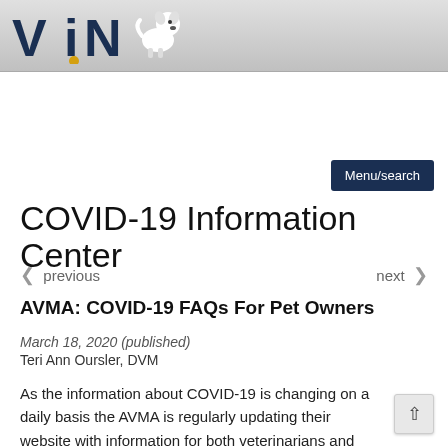[Figure (logo): VIN logo - letters V, I, N in dark navy/gold with a white dog illustration and yellow dot]
Menu/search
COVID-19 Information Center
< previous   next >
AVMA: COVID-19 FAQs For Pet Owners
March 18, 2020 (published)
Teri Ann Oursler, DVM
As the information about COVID-19 is changing on a daily basis the AVMA is regularly updating their website with information for both veterinarians and pets.  Rather th take the chance of disseminating out-of-date informat